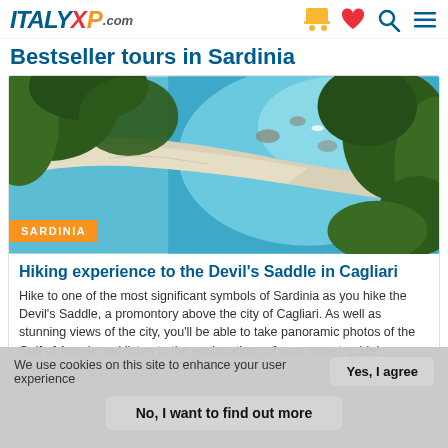ITALY XP .com
Bestseller tours in Sardinia
[Figure (photo): Aerial view of a Sardinian coastline with turquoise water, white rocky beach, and lush green vegetation. Orange badge reading SARDINIA at bottom left.]
Hiking experience to the Devil's Saddle in Cagliari
Hike to one of the most significant symbols of Sardinia as you hike the Devil's Saddle, a promontory above the city of Cagliari. As well as stunning views of the city, you'll be able to take panoramic photos of the Gulf of Angels and listen to the explanations of your expert guide!
We use cookies on this site to enhance your user experience
Yes, I agree
No, I want to find out more